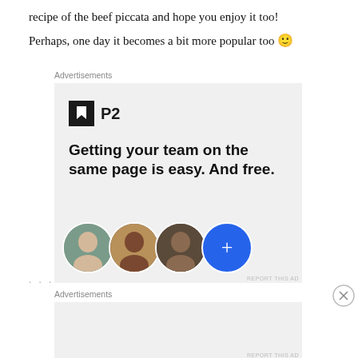recipe of the beef piccata and hope you enjoy it too! Perhaps, one day it becomes a bit more popular too 🙂
Advertisements
[Figure (screenshot): P2 advertisement banner. Shows P2 logo icon (black square with white bookmark icon) and text 'P2'. Below it reads 'Getting your team on the same page is easy. And free.' with profile photo circles of three people and a blue circle with a plus sign.]
Advertisements
[Figure (screenshot): Second advertisement area, gray background, mostly empty with 'Advertisements' label above it.]